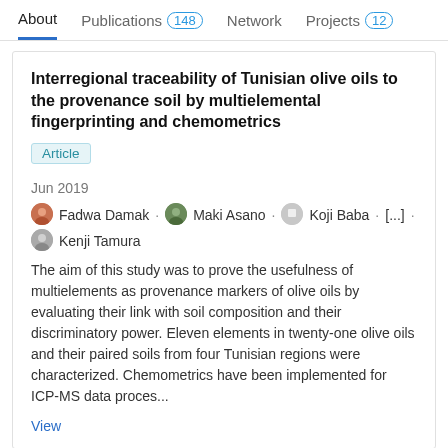About  Publications 148  Network  Projects 12
Interregional traceability of Tunisian olive oils to the provenance soil by multielemental fingerprinting and chemometrics
Article
Jun 2019
Fadwa Damak · Maki Asano · Koji Baba · [...] · Kenji Tamura
The aim of this study was to prove the usefulness of multielements as provenance markers of olive oils by evaluating their link with soil composition and their discriminatory power. Eleven elements in twenty-one olive oils and their paired soils from four Tunisian regions were characterized. Chemometrics have been implemented for ICP-MS data proces...
View
AGIC2017PROGRAM.pdf